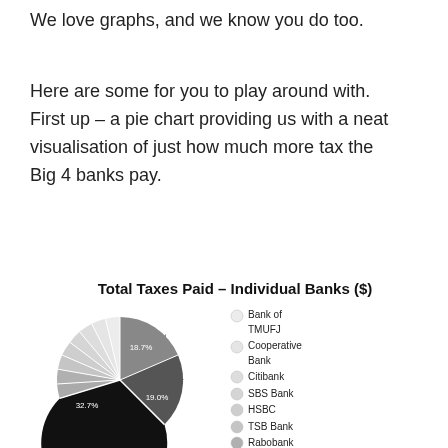We love graphs, and we know you do too.
Here are some for you to play around with. First up – a pie chart providing us with a neat visualisation of just how much more tax the Big 4 banks pay.
[Figure (pie-chart): Total Taxes Paid – Individual Banks ($)]